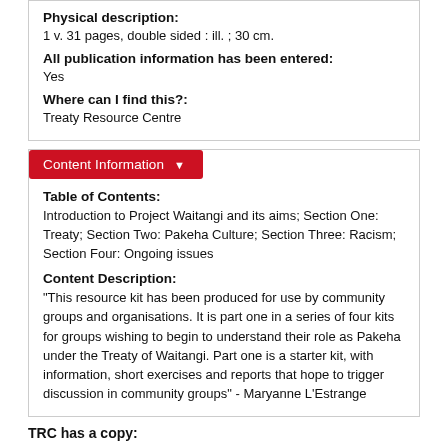Physical description:
1 v. 31 pages, double sided : ill. ; 30 cm.
All publication information has been entered:
Yes
Where can I find this?:
Treaty Resource Centre
Content Information
Table of Contents:
Introduction to Project Waitangi and its aims; Section One: Treaty; Section Two: Pakeha Culture; Section Three: Racism; Section Four: Ongoing issues
Content Description:
"This resource kit has been produced for use by community groups and organisations. It is part one in a series of four kits for groups wishing to begin to understand their role as Pakeha under the Treaty of Waitangi. Part one is a starter kit, with information, short exercises and reports that hope to trigger discussion in community groups" - Maryanne L'Estrange
TRC has a copy: